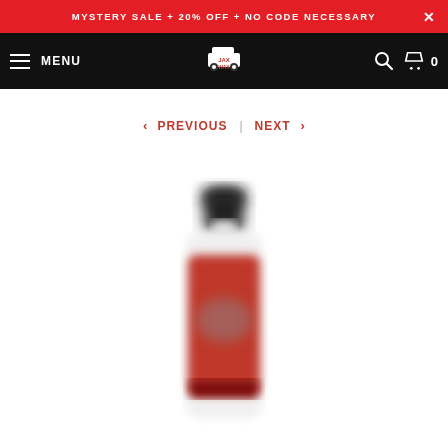MYSTERY SALE + 20% OFF + NO CODE NECESSARY
MENU | JAX WAX | Search | Cart 0
< PREVIOUS | NEXT >
[Figure (photo): A blurred product bottle with a black cap, white body, and red label with Jax Wax branding. The image is intentionally out of focus.]